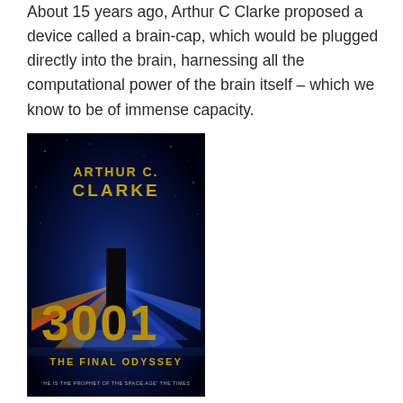About 15 years ago, Arthur C Clarke proposed a device called a brain-cap, which would be plugged directly into the brain, harnessing all the computational power of the brain itself – which we know to be of immense capacity.
[Figure (illustration): Book cover of '3001 The Final Odyssey' by Arthur C. Clarke. Dark background with golden text for the author name and title number '3001'. A glowing monolith/black slab stands in a cosmic environment with colorful light beams radiating outward. Subtitle 'THE FINAL ODYSSEY' in gold letters, with a tagline at the bottom: 'HE IS THE PROPHET OF THE SPACE AGE - THE TIMES'.]